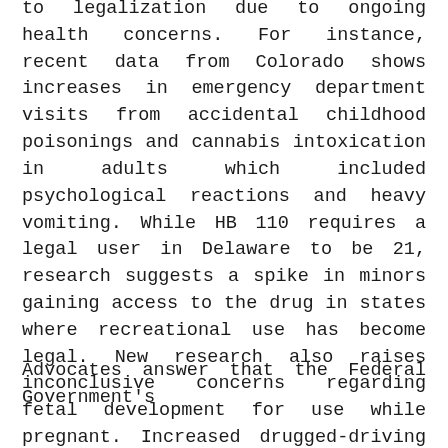to legalization due to ongoing health concerns. For instance, recent data from Colorado shows increases in emergency department visits from accidental childhood poisonings and cannabis intoxication in adults which included psychological reactions and heavy vomiting. While HB 110 requires a legal user in Delaware to be 21, research suggests a spike in minors gaining access to the drug in states where recreational use has become legal. New research also raises inconclusive concerns regarding fetal development for use while pregnant. Increased drugged-driving has also been evidenced. Overall, physicians cite a lack of properly-trialed evidence that marijuana is safe. The Delaware legislature tends to proceed with caution on big, new initiatives in the absence of such evidence.
Advocates answer that the Federal Government's decision to ban marijuana reflected the interests of...